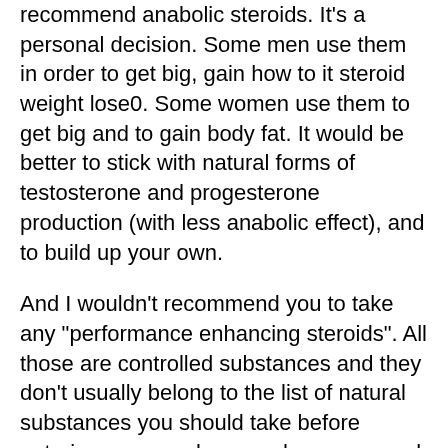recommend anabolic steroids. It's a personal decision. Some men use them in order to get big, gain how to it steroid weight lose0. Some women use them to get big and to gain body fat. It would be better to stick with natural forms of testosterone and progesterone production (with less anabolic effect), and to build up your own.
And I wouldn't recommend you to take any "performance enhancing steroids". All those are controlled substances and they don't usually belong to the list of natural substances you should take before entering a gym unless you have personal reason to use them, gain how to it steroid weight lose1. Anabolic steroids are natural so it is up to you to understand the risks, and you need to be aware of them if you are going to try this, gain how to it steroid weight lose2.